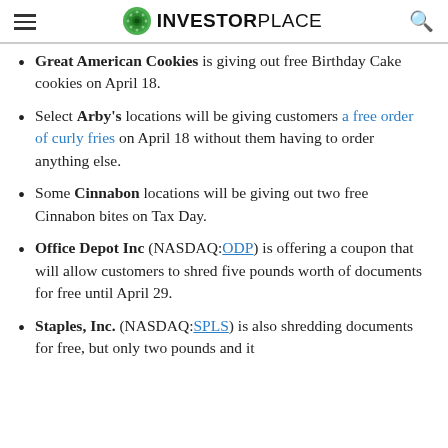INVESTORPLACE
Great American Cookies is giving out free Birthday Cake cookies on April 18.
Select Arby's locations will be giving customers a free order of curly fries on April 18 without them having to order anything else.
Some Cinnabon locations will be giving out two free Cinnabon bites on Tax Day.
Office Depot Inc (NASDAQ:ODP) is offering a coupon that will allow customers to shred five pounds worth of documents for free until April 29.
Staples, Inc. (NASDAQ:SPLS) is also shredding documents for free, but only two pounds and it